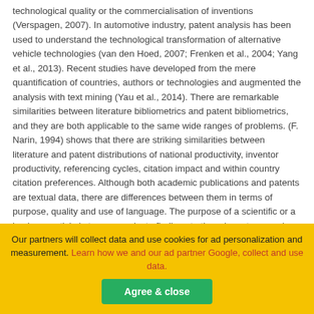technological quality or the commercialisation of inventions (Verspagen, 2007). In automotive industry, patent analysis has been used to understand the technological transformation of alternative vehicle technologies (van den Hoed, 2007; Frenken et al., 2004; Yang et al., 2013). Recent studies have developed from the mere quantification of countries, authors or technologies and augmented the analysis with text mining (Yau et al., 2014). There are remarkable similarities between literature bibliometrics and patent bibliometrics, and they are both applicable to the same wide ranges of problems. (F. Narin, 1994) shows that there are striking similarities between literature and patent distributions of national productivity, inventor productivity, referencing cycles, citation impact and within country citation preferences. Although both academic publications and patents are textual data, there are differences between them in terms of purpose, quality and use of language. The purpose of a scientific or a business article is to communicate findings to the relevant research or business community and public. A patent is a legal document that gives the creator an exclusive right for their invention. Existing patent
Our partners will collect data and use cookies for ad personalization and measurement. Learn how we and our ad partner Google, collect and use data.
Agree & close